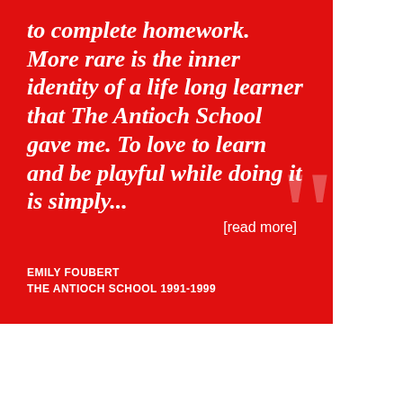to complete homework. More rare is the inner identity of a life long learner that The Antioch School gave me. To love to learn and be playful while doing it is simply... [read more]
EMILY FOUBERT
THE ANTIOCH SCHOOL 1991-1999